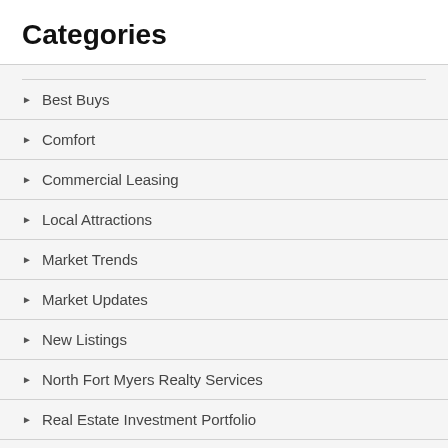Categories
Best Buys
Comfort
Commercial Leasing
Local Attractions
Market Trends
Market Updates
New Listings
North Fort Myers Realty Services
Real Estate Investment Portfolio
Sales